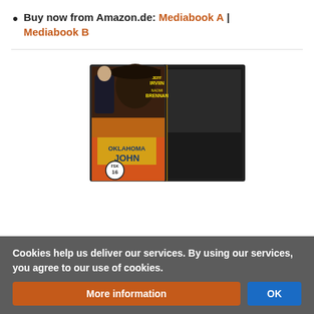Buy now from Amazon.de: Mediabook A | Mediabook B
[Figure (photo): Product photo of Oklahoma John DVD/Blu-ray Mediabook showing front and back cover with western movie artwork featuring a man in a hat, a woman, and horseback riders. FSK 16 rating badge visible. Title 'OKLAHOMA JOHN' displayed prominently.]
Cookies help us deliver our services. By using our services, you agree to our use of cookies.
Release date: September 8, 2022
BluRay + D...e ...s, limited to